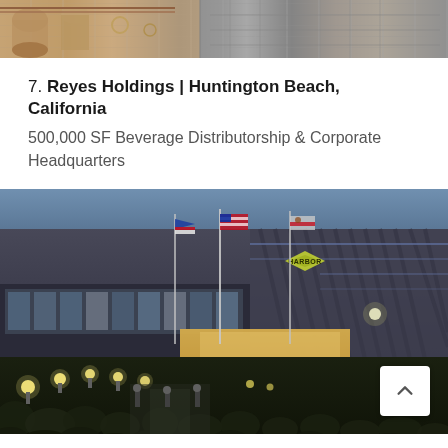[Figure (photo): Top portion of an industrial facility interior showing manufacturing equipment, pipes, and steel structures in warm and grey tones]
7. Reyes Holdings | Huntington Beach, California
500,000 SF Beverage Distributorship & Corporate Headquarters
[Figure (photo): Exterior nighttime/dusk photo of the Harbor building (Reyes Holdings facility) in Huntington Beach, California. Modern industrial building with glass windows, flagpoles with American and California flags, landscaping with ornamental grasses and pathway lights, and the Harbor diamond logo on the facade.]